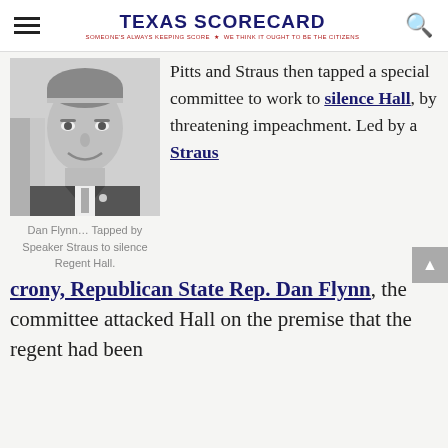TEXAS SCORECARD — SOMEONE'S ALWAYS KEEPING SCORE — WE THINK IT OUGHT TO BE THE CITIZENS
[Figure (photo): Black and white portrait photo of Dan Flynn, an older man in a suit smiling]
Dan Flynn… Tapped by Speaker Straus to silence Regent Hall.
Pitts and Straus then tapped a special committee to work to silence Hall, by threatening impeachment. Led by a Straus crony, Republican State Rep. Dan Flynn, the committee attacked Hall on the premise that the regent had been